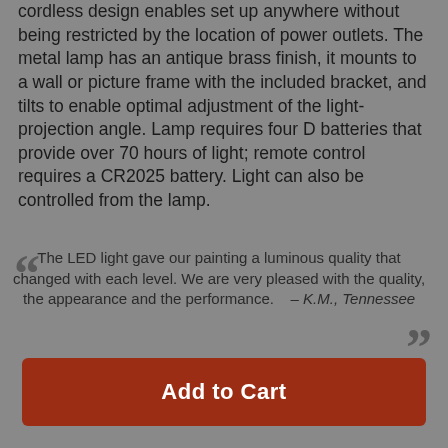cordless design enables set up anywhere without being restricted by the location of power outlets. The metal lamp has an antique brass finish, it mounts to a wall or picture frame with the included bracket, and tilts to enable optimal adjustment of the light-projection angle. Lamp requires four D batteries that provide over 70 hours of light; remote control requires a CR2025 battery. Light can also be controlled from the lamp.
The LED light gave our painting a luminous quality that changed with each level. We are very pleased with the quality, the appearance and the performance. – K.M., Tennessee
Add to Cart